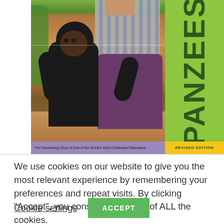[Figure (photo): Book cover showing a baby chimpanzee sitting in front of a person wearing a plaid shirt and purple pants, on sandy ground. Green spine with 'PANZEES' text visible. Bottom bar with subtitle text and 'REVISED EDITION' in yellow. Purple subtitle bar reads 'The Fascinating Story of One of the World's Most Celebrated Naturalists'.]
We use cookies on our website to give you the most relevant experience by remembering your preferences and repeat visits. By clicking "Accept", you consent to the use of ALL the cookies.
Cookie settings
ACCEPT